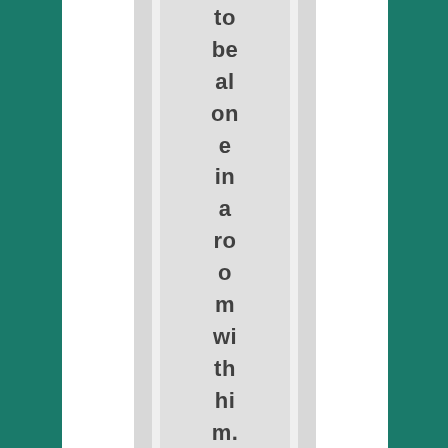to be alone in a room with him. Puri Jaganaddh,I